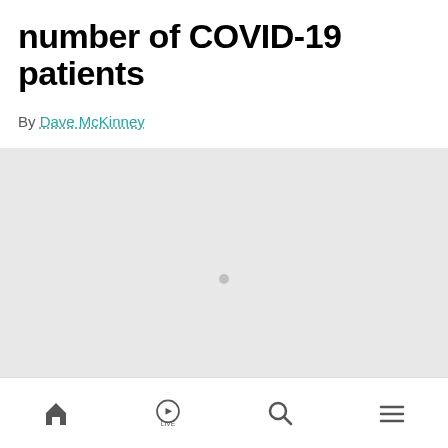number of COVID-19 patients
By Dave McKinney
[Figure (other): Large grey image/video placeholder area with a small grey dot in the center, representing an embedded media element that has not loaded.]
Home | LIVE | Search | Menu navigation bar